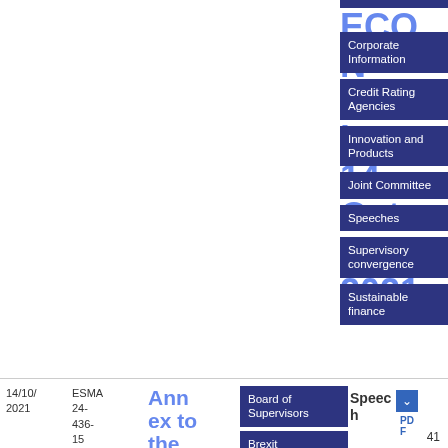ECON Hearing 14 October 2021
Corporate Information
Credit Rating Agencies
Innovation and Products
Joint Committee
Speeches
Supervisory convergence
Sustainable finance
14/10/2021
ESMA 24-436-15
Annex to the O
Board of Supervisors
Brexit
Speech
PDF
41